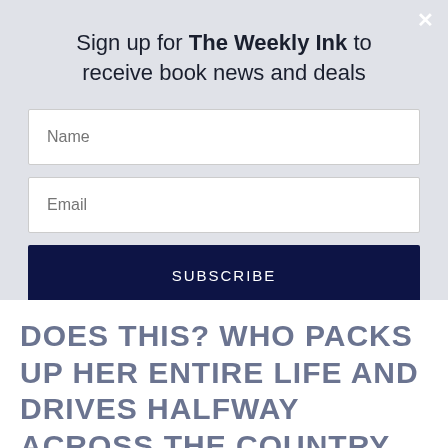Sign up for The Weekly Ink to receive book news and deals
Name
Email
SUBSCRIBE
DOES THIS? WHO PACKS UP HER ENTIRE LIFE AND DRIVES HALFWAY ACROSS THE COUNTRY BY HERSELF? I DO. BECAUSE PART OF ME CAN'T SEEM TO BELIEVE THAT I'M NO LONGER COASTING THROUGH LIFE ALONE. I HAD TO PROVE